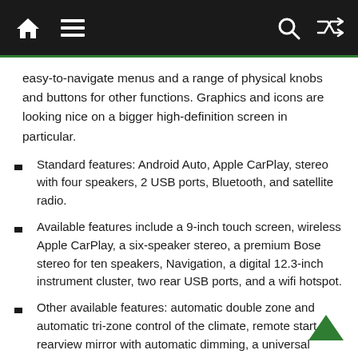Navigation bar with home, menu, search, and shuffle icons
easy-to-navigate menus and a range of physical knobs and buttons for other functions. Graphics and icons are looking nice on a bigger high-definition screen in particular.
Standard features: Android Auto, Apple CarPlay, stereo with four speakers, 2 USB ports, Bluetooth, and satellite radio.
Available features include a 9-inch touch screen, wireless Apple CarPlay, a six-speaker stereo, a premium Bose stereo for ten speakers, Navigation, a digital 12.3-inch instrument cluster, two rear USB ports, and a wifi hotspot.
Other available features: automatic double zone and automatic tri-zone control of the climate, remote start, a rearview mirror with automatic dimming, a universal garage gate, and a moon panoramic view mirror.